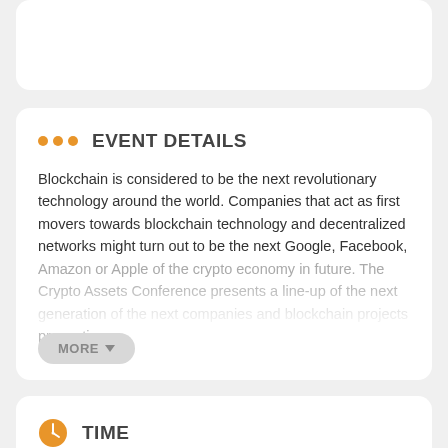EVENT DETAILS
Blockchain is considered to be the next revolutionary technology around the world. Companies that act as first movers towards blockchain technology and decentralized networks might turn out to be the next Google, Facebook, Amazon or Apple of the crypto economy in future. The Crypto Assets Conference presents a line-up of the next generation of blockchain...
TIME
february 25 (Monday) - 26 (Tuesday)  (GMT+00:00)
View in my time